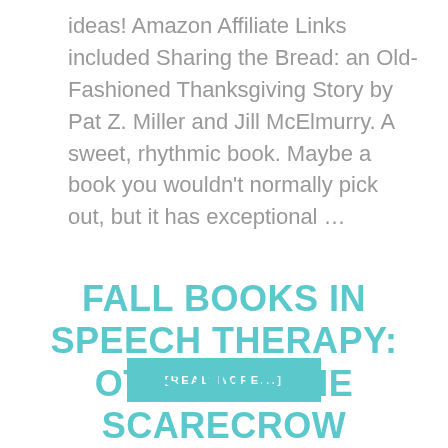ideas! Amazon Affiliate Links included Sharing the Bread: an Old-Fashioned Thanksgiving Story by Pat Z. Miller and Jill McElmurry. A sweet, rhythmic book. Maybe a book you wouldn't normally pick out, but it has exceptional …
[READ MORE...]
FALL BOOKS IN SPEECH THERAPY: OTIS AND THE SCARECROW FREEBIE INCLUDED!